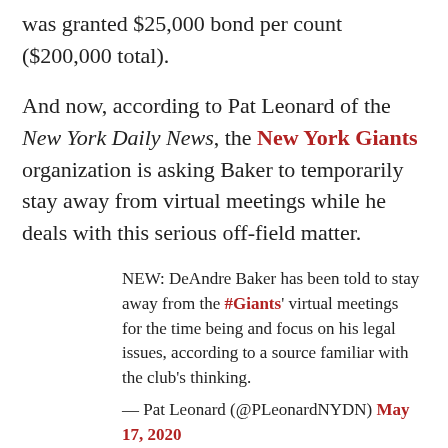was granted $25,000 bond per count ($200,000 total).
And now, according to Pat Leonard of the New York Daily News, the New York Giants organization is asking Baker to temporarily stay away from virtual meetings while he deals with this serious off-field matter.
NEW: DeAndre Baker has been told to stay away from the #Giants' virtual meetings for the time being and focus on his legal issues, according to a source familiar with the club's thinking.
— Pat Leonard (@PLeonardNYDN) May 17, 2020
Baker hadn't been attending the team's virtual voluntary minicamp this past week, per Dan Duggan